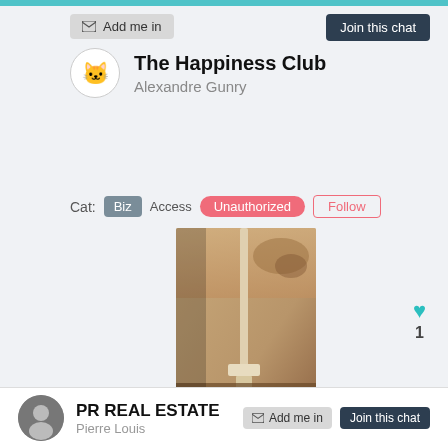Add me in
Join this chat
The Happiness Club
Alexandre Gunry
Cat:  Biz  Access  Unauthorized  Follow
[Figure (photo): A photo showing an interior ceiling/stair area with a pole or rod, water damage visible on ceiling]
1
Add me in
Join this chat
PR REAL ESTATE
Pierre Louis